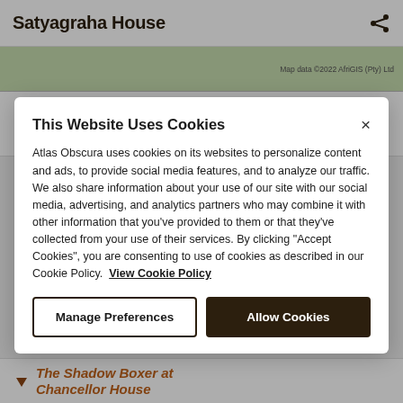Satyagraha House
[Figure (screenshot): Partial map view with text 'Map data ©2022 AfriGIS (Pty) Ltd']
15 Pine Rd
Johannesburg
This Website Uses Cookies
Atlas Obscura uses cookies on its websites to personalize content and ads, to provide social media features, and to analyze our traffic. We also share information about your use of our site with our social media, advertising, and analytics partners who may combine it with other information that you've provided to them or that they've collected from your use of their services. By clicking "Accept Cookies", you are consenting to use of cookies as described in our Cookie Policy. View Cookie Policy
Manage Preferences
Allow Cookies
The Shadow Boxer at Chancellor House